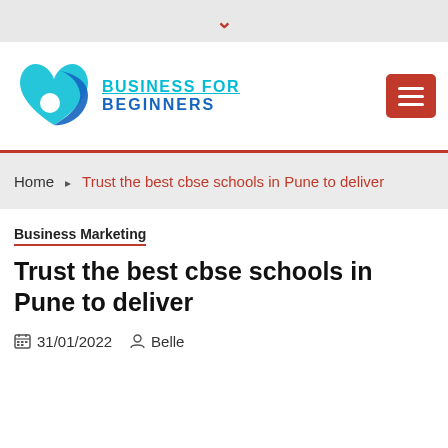▾
[Figure (logo): Business For Beginners logo — turquoise and blue heart/teardrop shape icon with white circle, next to text BUSINESS FOR BEGINNERS in cyan and blue]
Home ▸ Trust the best cbse schools in Pune to deliver
Business Marketing
Trust the best cbse schools in Pune to deliver
31/01/2022   Belle